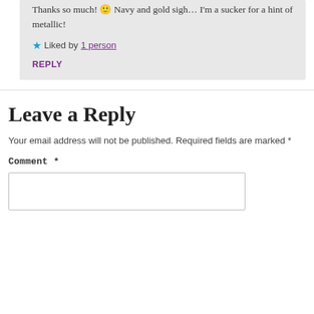Thanks so much! 🙂 Navy and gold sigh… I'm a sucker for a hint of metallic!
★ Liked by 1 person
REPLY
Leave a Reply
Your email address will not be published. Required fields are marked *
Comment *